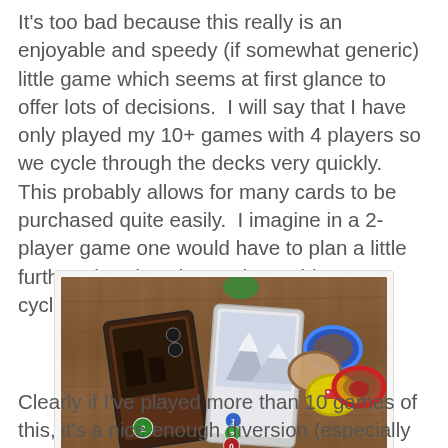It's too bad because this really is an enjoyable and speedy (if somewhat generic) little game which seems at first glance to offer lots of decisions.  I will say that I have only played my 10+ games with 4 players so we cycle through the decks very quickly.  This probably allows for many cards to be purchased quite easily.  I imagine in a 2-player game one would have to plan a little further ahead as the cards wouldn't get cycled half as much.
[Figure (photo): Photo of a board game setup on a wooden table showing two game cards (one dark/red themed, one white/snowy themed) and several colorful circular tokens/chips (blue, yellow, red outline) on a wooden surface with a green component visible at top.]
Clearly if I've played more than 10 games of this, it's a nice enough diversion (especially for hard-lurgy to goals). And